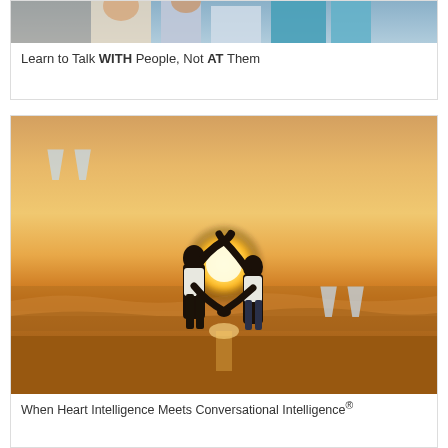[Figure (photo): Top portion of a photo showing people, partially cropped at top of page]
Learn to Talk WITH People, Not AT Them
[Figure (photo): A couple on a beach at sunset forming a heart shape with their arms, with large quotation marks overlaid on the image]
When Heart Intelligence Meets Conversational Intelligence®